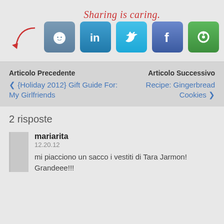[Figure (infographic): Sharing is caring label with arrow pointing to social media share buttons: Reddit, LinkedIn, Twitter, Facebook, and a share/refresh icon]
Articolo Precedente
‹ {Holiday 2012} Gift Guide For: My Girlfriends
Articolo Successivo
Recipe: Gingerbread Cookies ›
2 risposte
mariarita
12.20.12
mi piacciono un sacco i vestiti di Tara Jarmon! Grandeee!!!